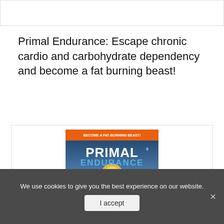Primal Endurance: Escape chronic cardio and carbohydrate dependency and become a fat burning beast!
[Figure (photo): Book cover of 'Primal Endurance' by Mark Sisson showing a runner on a sand dune at sunset. Orange banner at top reads 'BECOME A FAT-BURNING BEAST!'. Title in large white bold text. Bullet points listing benefits. Author name at bottom.]
We use cookies to give you the best experience on our website.